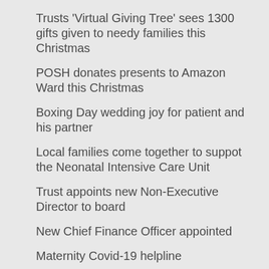Trusts ‘Virtual Giving Tree’ sees 1300 gifts given to needy families this Christmas
POSH donates presents to Amazon Ward this Christmas
Boxing Day wedding joy for patient and his partner
Local families come together to suppot the Neonatal Intensive Care Unit
Trust appoints new Non-Executive Director to board
New Chief Finance Officer appointed
Maternity Covid-19 helpline